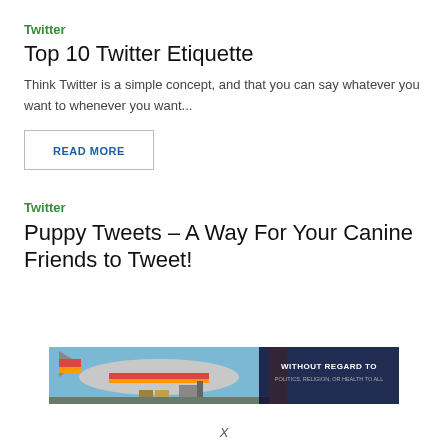Twitter
Top 10 Twitter Etiquette
Think Twitter is a simple concept, and that you can say whatever you want to whenever you want...
READ MORE
Twitter
Puppy Tweets – A Way For Your Canine Friends to Tweet!
[Figure (photo): Advertisement banner showing an airplane being loaded with cargo. Text overlay reads WITHOUT REGARD TO POLITICS, RELIGION, OR HEALTH TO ALL]
X